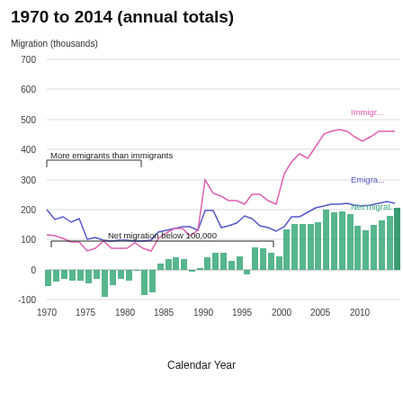1970 to 2014 (annual totals)
[Figure (line-chart): Line chart showing Immigration (pink), Emigration (blue), and Net migration bar chart (green) from 1970 to 2014. Annotations: 'More emigrants than immigrants' bracket from ~1970-1983, 'Net migration below 100,000' bracket from ~1970-1998. Labels: Immigr..., Emigra..., Net migrat... at right edge.]
Calendar Year